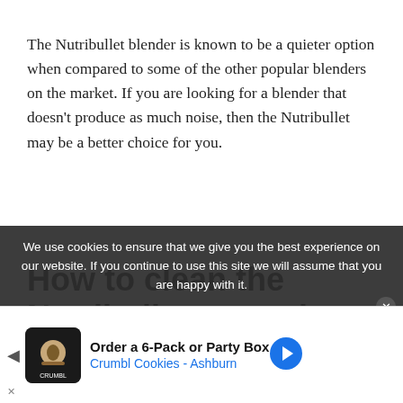The Nutribullet blender is known to be a quieter option when compared to some of the other popular blenders on the market. If you are looking for a blender that doesn't produce as much noise, then the Nutribullet may be a better choice for you.
How to clean the Nutribullet motor base
In order to clean the Nutribullet motor base...
We use cookies to ensure that we give you the best experience on our website. If you continue to use this site we will assume that you are happy with it.
[Figure (other): Advertisement banner for Crumbl Cookies - Order a 6-Pack or Party Box, Crumbl Cookies - Ashburn]